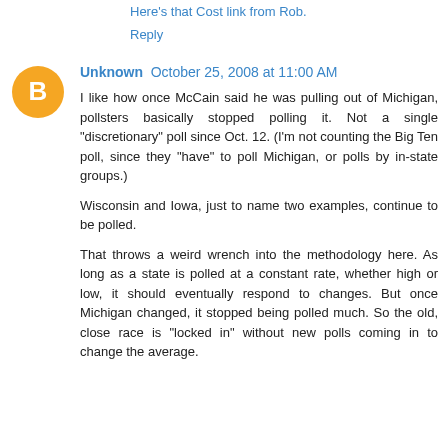Here's that Cost link from Rob.
Reply
Unknown  October 25, 2008 at 11:00 AM
I like how once McCain said he was pulling out of Michigan, pollsters basically stopped polling it. Not a single "discretionary" poll since Oct. 12. (I'm not counting the Big Ten poll, since they "have" to poll Michigan, or polls by in-state groups.)
Wisconsin and Iowa, just to name two examples, continue to be polled.
That throws a weird wrench into the methodology here. As long as a state is polled at a constant rate, whether high or low, it should eventually respond to changes. But once Michigan changed, it stopped being polled much. So the old, close race is "locked in" without new polls coming in to change the average.